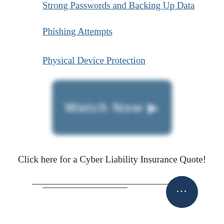Strong Passwords and Backing Up Data
Phishing Attempts
Physical Device Protection
[Figure (other): A blurred dark blue button with obscured text, likely a call-to-action button]
Click here for a Cyber Liability Insurance Quote!
Horizontal divider lines